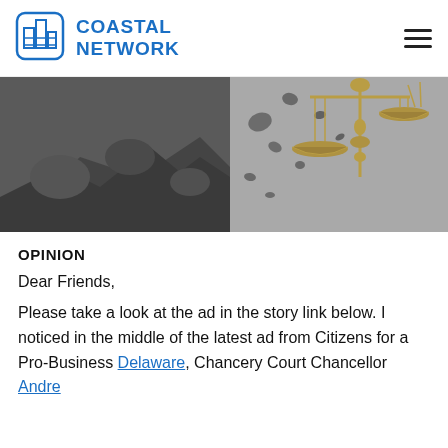COASTAL NETWORK
[Figure (photo): Black and white photo of rocks/boulders crumbling or exploding, with golden scales of justice emerging from the debris against a gray sky background.]
OPINION
Dear Friends,
Please take a look at the ad in the story link below. I noticed in the middle of the latest ad from Citizens for a Pro-Business Delaware, Chancery Court Chancellor Andre